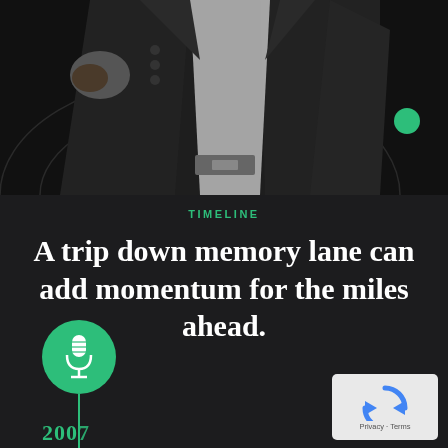[Figure (photo): Person in a dark suit jacket, torso/lower portion visible against a dark background with a green circle accent on the right side]
TIMELINE
A trip down memory lane can add momentum for the miles ahead.
[Figure (infographic): Green circle with microphone icon representing a timeline entry for 2007]
2007